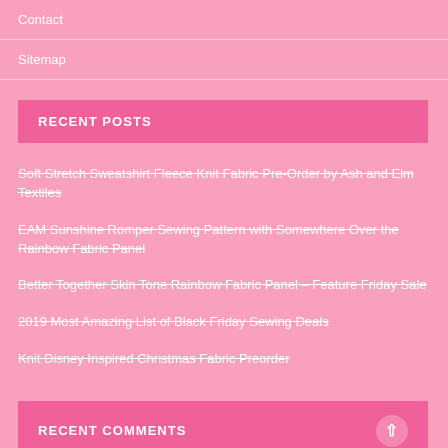Contact
Sitemap
RECENT POSTS
Soft Stretch Sweatshirt Fleece Knit Fabric Pre-Order by Ash and Elm Textiles
EAM Sunshine Romper Sewing Pattern with Somewhere Over the Rainbow Fabric Panel
Better Together Skin Tone Rainbow Fabric Panel – Feature Friday Sale
2019 Most Amazing List of Black Friday Sewing Deals
Knit Disney Inspired Christmas Fabric Preorder
RECENT COMMENTS